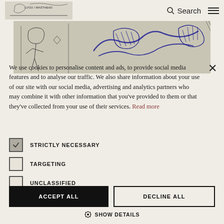Search [menu icon]
[Figure (illustration): Hand-drawn sketch illustration showing figures in blue ink on paper background]
We use cookies to personalise content and ads, to provide social media features and to analyse our traffic. We also share information about your use of our site with our social media, advertising and analytics partners who may combine it with other information that you've provided to them or that they've collected from your use of their services. Read more
STRICTLY NECESSARY (checked)
TARGETING (unchecked)
UNCLASSIFIED (unchecked)
ACCEPT ALL
DECLINE ALL
SHOW DETAILS